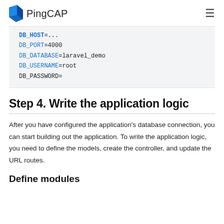PingCAP
DB_HOST=...
DB_PORT=4000
DB_DATABASE=laravel_demo
DB_USERNAME=root
DB_PASSWORD=
Step 4. Write the application logic
After you have configured the application's database connection, you can start building out the application. To write the application logic, you need to define the models, create the controller, and update the URL routes.
Define modules